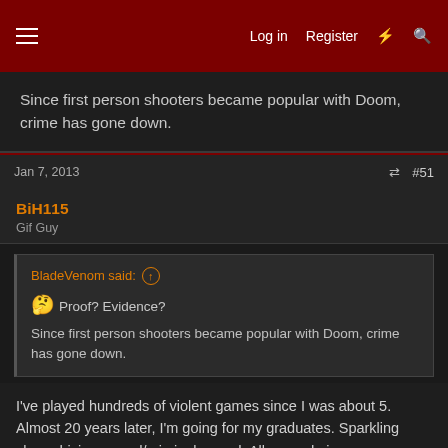Log in  Register  ⚡  🔍
Since first person shooters became popular with Doom, crime has gone down.
Jan 7, 2013  #51
BiH115
Gif Guy
BladeVenom said: ↑
😜 Proof? Evidence?
Since first person shooters became popular with Doom, crime has gone down.
I've played hundreds of violent games since I was about 5. Almost 20 years later, I'm going for my graduates. Sparkling clean driving record/criminal record. All around nice guy